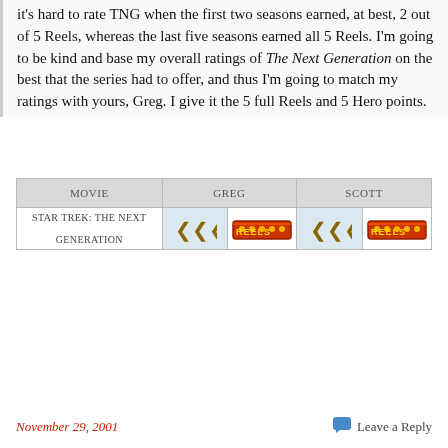It's hard to rate TNG when the first two seasons earned, at best, 2 out of 5 Reels, whereas the last five seasons earned all 5 Reels. I'm going to be kind and base my overall ratings of The Next Generation on the best that the series had to offer, and thus I'm going to match my ratings with yours, Greg. I give it the 5 full Reels and 5 Hero points.
| MOVIE | GREG | SCOTT |
| --- | --- | --- |
| STAR TREK: THE NEXT GENERATION | [2.5 reels icon] [5 reels icon] | [2.5 reels icon] [5 hero icon] |
November 29, 2001
Leave a Reply